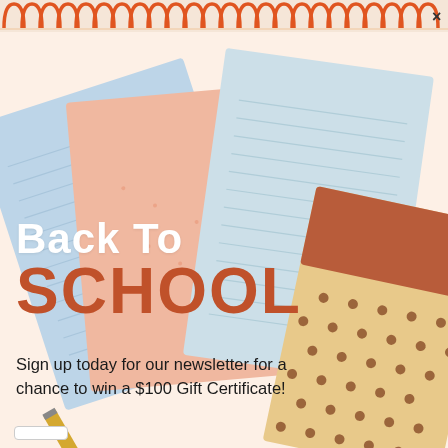[Figure (illustration): Back to school promotional image showing colorful notebooks/notepads in pastel blue, pink, and tan with polka dots, arranged at angles on a white background, with a spiral binding graphic at the top]
Back To SCHOOL
Sign up today for our newsletter for a chance to win a $100 Gift Certificate!